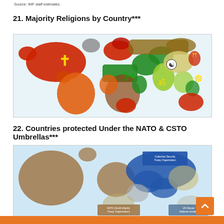Source: IMF staff estimates.
21. Majority Religions by Country***
[Figure (map): World map showing majority religions by country. Red/dark red indicates Christian-majority countries (Americas, Europe, sub-Saharan Africa, Australia). Green indicates Muslim-majority countries (North Africa, Middle East, Central Asia, parts of Southeast Asia). Orange indicates areas with no majority or mixed. Yellow-green indicates Hindu-majority (India). Tan/brown indicates Buddhist/other. Religious symbols overlaid: Christian cross (Americas), crescent and star (Middle East/Africa), Om symbol (India), Yin-yang (East Asia), Dharma wheel (Southeast Asia), Torii gate (Japan).]
22. Countries protected Under the NATO &  CSTO Umbrellas***
[Figure (map): Partial world map showing NATO (North Atlantic Treaty Organization) and CSTO (Collective Security Treaty Organization) member countries. Blue shading indicates CSTO members (Russia and surrounding states). Legend boxes visible: 'Collective Security Treaty Organization', 'NATO (North Atlantic Treaty Organization)', 'US Mutual Defense treaties'.]